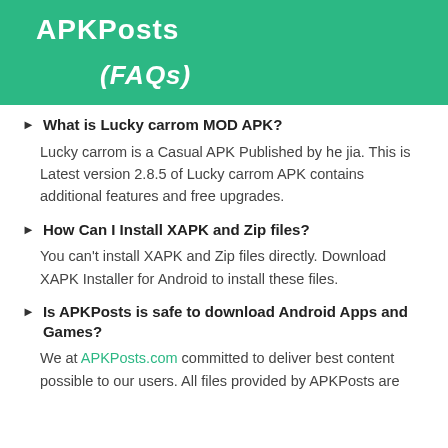APKPosts
(FAQs)
What is Lucky carrom MOD APK?
Lucky carrom is a Casual APK Published by he jia. This is Latest version 2.8.5 of Lucky carrom APK contains additional features and free upgrades.
How Can I Install XAPK and Zip files?
You can't install XAPK and Zip files directly. Download XAPK Installer for Android to install these files.
Is APKPosts is safe to download Android Apps and Games?
We at APKPosts.com committed to deliver best content possible to our users. All files provided by APKPosts are